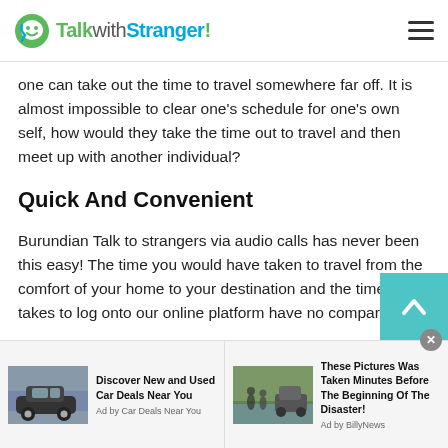TalkwithStranger!
one can take out the time to travel somewhere far off. It is almost impossible to clear one’s schedule for one’s own self, how would they take the time out to travel and then meet up with another individual?
Quick And Convenient
Burundian Talk to strangers via audio calls has never been this easy! The time you would have taken to travel from the comfort of your home to your destination and the time it takes to log onto our online platform have no comparison!
[Figure (screenshot): Two advertisement units at the bottom: left ad shows a car with text 'Discover New and Used Car Deals Near You' by Car Deals Near You; right ad shows people on a flooded road with text 'These Pictures Was Taken Minutes Before The Beginning Of The Disaster!' by BillyNews. A close button (x) appears in the top-right corner of the ad bar.]